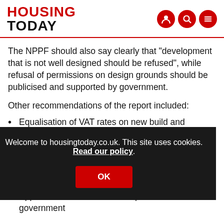HOUSING TODAY
The NPPF should also say clearly that "development that is not well designed should be refused", while refusal of permissions on design grounds should be publicised and supported by government.
Other recommendations of the report included:
Equalisation of VAT rates on new build and renovation work to remove the incentive to knock down and replace
Appointment of a 'minister for place' in central government
Welcome to housingtoday.co.uk. This site uses cookies. Read our policy.